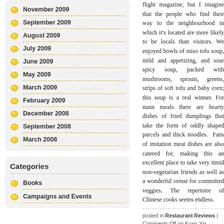November 2009
September 2009
August 2009
July 2009
June 2009
May 2009
March 2009
February 2009
December 2008
September 2008
March 2008
Categories
Books
Campaigns and Events
flight magazine, but I imagine that the people who find their way to the neighbourhood in which it's located are more likely to be locals than visitors. We enjoyed bowls of miso tofu soup, mild and appetizing, and sour spicy soup, packed with mushrooms, sprouts, greens, strips of soft tofu and baby corn; this soup is a real winner. For main meals there are hearty dishes of fried dumplings that take the form of oddly shaped parcels and thick noodles. Fans of imitation meat dishes are also catered for, making this an excellent place to take very timid non-vegetarian friends as well as a wonderful venue for committed veggies. The repertoire of Chinese cooks seems endless.
posted in Restaurant Reviews | Comments Off on Kuan-Yin Teahouse